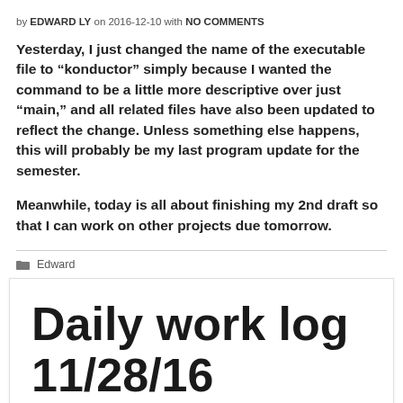by EDWARD LY on 2016-12-10 with NO COMMENTS
Yesterday, I just changed the name of the executable file to “konductor” simply because I wanted the command to be a little more descriptive over just “main,” and all related files have also been updated to reflect the change. Unless something else happens, this will probably be my last program update for the semester.
Meanwhile, today is all about finishing my 2nd draft so that I can work on other projects due tomorrow.
Edward
Daily work log 11/28/16